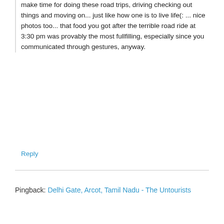make time for doing these road trips, driving checking out things and moving on... just like how one is to live life(: ... nice photos too... that food you got after the terrible road ride at 3:30 pm was provably the most fullfilling, especially since you communicated through gestures, anyway.
Reply
Pingback: Delhi Gate, Arcot, Tamil Nadu - The Untourists